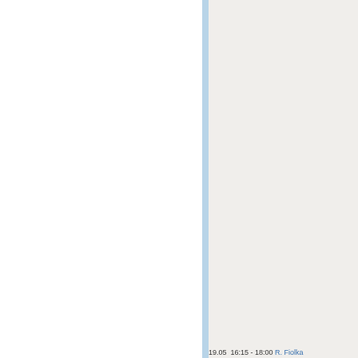19.05  16:15 - 18:00  R. Fiolka